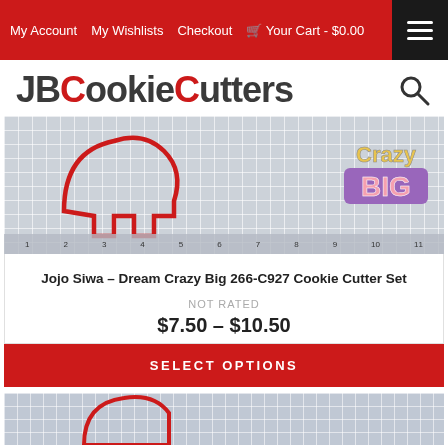My Account  My Wishlists  Checkout  Your Cart - $0.00
[Figure (logo): JBCookieCutters logo in dark gray and red text with a search icon]
[Figure (photo): Product photo of a cookie cutter on a grid mat with 'Crazy Big' text visible]
Jojo Siwa – Dream Crazy Big 266-C927 Cookie Cutter Set
NOT RATED
$7.50 – $10.50
SELECT OPTIONS
[Figure (photo): Partial product photo of another cookie cutter on a grid mat]